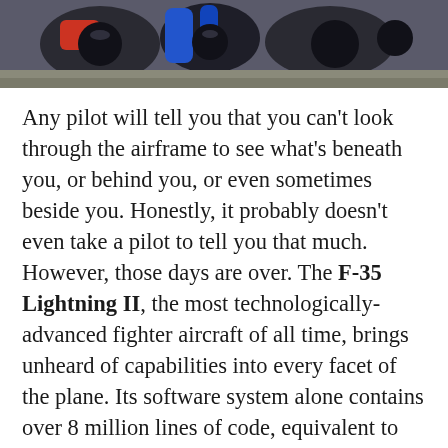[Figure (photo): Close-up photo of aircraft cockpit equipment or helmets, showing dark equipment with blue and red elements visible at top of page]
Any pilot will tell you that you can't look through the airframe to see what's beneath you, or behind you, or even sometimes beside you. Honestly, it probably doesn't even take a pilot to tell you that much. However, those days are over. The F-35 Lightning II, the most technologically-advanced fighter aircraft of all time, brings unheard of capabilities into every facet of the plane. Its software system alone contains over 8 million lines of code, equivalent to about 150,000 pages of text. The software controls the latest advancements in weapons systems [obscured] radar functions [obscured] and